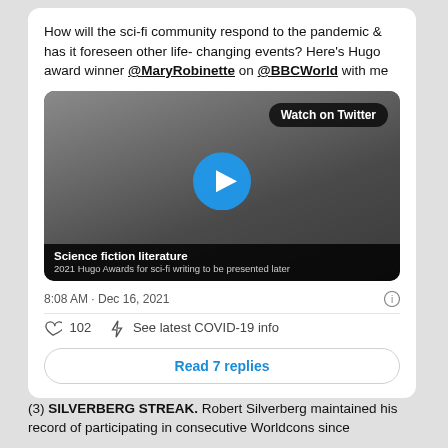How will the sci-fi community respond to the pandemic & has it foreseen other life- changing events? Here's Hugo award winner @MaryRobinette on @BBCWorld with me
[Figure (screenshot): Video thumbnail showing a woman with glasses sitting on a couch. Overlay says 'Watch on Twitter' with a blue play button. Caption reads 'Science fiction literature / 2021 Hugo Awards for sci-fi writing to be presented later']
8:08 AM · Dec 16, 2021
102    See latest COVID-19 info
Read 7 replies
(3) SILVERBERG STREAK. Robert Silverberg maintained his record of participating in consecutive Worldcons since